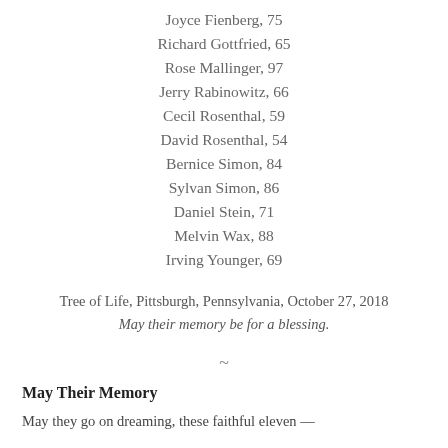Joyce Fienberg, 75
Richard Gottfried, 65
Rose Mallinger, 97
Jerry Rabinowitz, 66
Cecil Rosenthal, 59
David Rosenthal, 54
Bernice Simon, 84
Sylvan Simon, 86
Daniel Stein, 71
Melvin Wax, 88
Irving Younger, 69
Tree of Life, Pittsburgh, Pennsylvania, October 27, 2018
May their memory be for a blessing.
~
May Their Memory
May they go on dreaming, these faithful eleven —